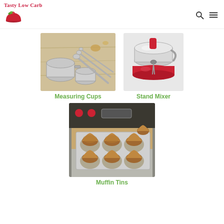Tasty Low Carb
[Figure (photo): Stainless steel measuring cups and spoons on a wooden cutting board]
Measuring Cups
[Figure (photo): Red stand mixer with silver bowl]
Stand Mixer
[Figure (photo): Muffin tin with baked muffins in an oven setting]
Muffin Tins